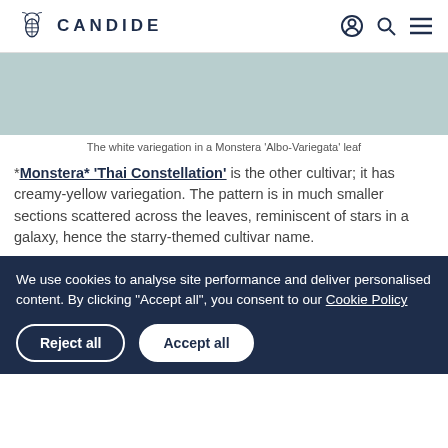CANDIDE
[Figure (photo): Light teal/green image area showing a Monstera 'Albo-Variegata' leaf with white variegation]
The white variegation in a Monstera 'Albo-Variegata' leaf
*Monstera* 'Thai Constellation' is the other cultivar; it has creamy-yellow variegation. The pattern is in much smaller sections scattered across the leaves, reminiscent of stars in a galaxy, hence the starry-themed cultivar name.
We use cookies to analyse site performance and deliver personalised content. By clicking “Accept all”, you consent to our Cookie Policy
Reject all | Accept all